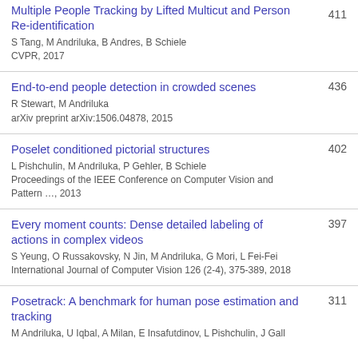Multiple People Tracking by Lifted Multicut and Person Re-identification
S Tang, M Andriluka, B Andres, B Schiele
CVPR, 2017
[cite: 411]
End-to-end people detection in crowded scenes
R Stewart, M Andriluka
arXiv preprint arXiv:1506.04878, 2015
[cite: 436]
Poselet conditioned pictorial structures
L Pishchulin, M Andriluka, P Gehler, B Schiele
Proceedings of the IEEE Conference on Computer Vision and Pattern …, 2013
[cite: 402]
Every moment counts: Dense detailed labeling of actions in complex videos
S Yeung, O Russakovsky, N Jin, M Andriluka, G Mori, L Fei-Fei
International Journal of Computer Vision 126 (2-4), 375-389, 2018
[cite: 397]
Posetrack: A benchmark for human pose estimation and tracking
M Andriluka, U Iqbal, A Milan, E Insafutdinov, L Pishchulin, J Gall
[cite: 311]